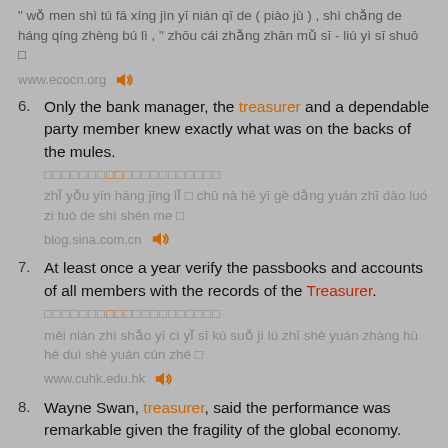" wǒ men shì tú fā xíng jìn yī nián qī de ( piào jù ) , shì chǎng de háng qíng zhèng bú lì , " zhōu cái zhǎng zhān mǔ sī - liú yì sī shuō □
www.ecocn.org
Only the bank manager, the treasurer and a dependable party member knew exactly what was on the backs of the mules.
zhǐ yǒu yín háng jīng lǐ □ chū nà hé yī gè dǎng yuán zhī dào luó zi tuó de shì shén me □
blog.sina.com.cn
At least once a year verify the passbooks and accounts of all members with the records of the Treasurer.
měi nián zhì shǎo yī cì yǐ sī kù suǒ jì lù zhī shè yuán zhàng hù hé duì shè yuán cún zhé □
www.cuhk.edu.hk
Wayne Swan, treasurer, said the performance was remarkable given the fragility of the global economy.